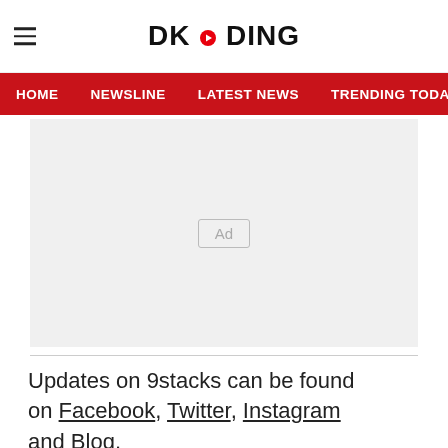DKODING
[Figure (screenshot): Navigation bar with links: HOME, NEWSLINE, LATEST NEWS, TRENDING TODAY, ENT]
[Figure (other): Advertisement placeholder box with 'Ad' label in center]
Updates on 9stacks can be found on Facebook, Twitter, Instagram and Blog.